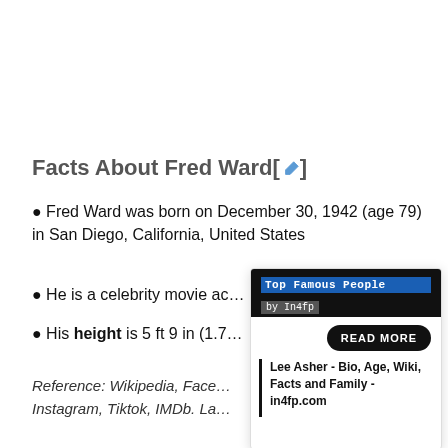Facts About Fred Ward[✎]
● Fred Ward was born on December 30, 1942 (age 79) in San Diego, California, United States
● He is a celebrity movie ac…
● His height is 5 ft 9 in (1.7…
Reference: Wikipedia, Face… Instagram, Tiktok, IMDb. La…
[Figure (infographic): Top Famous People by In4fp popup card with READ MORE button and link: Lee Asher - Bio, Age, Wiki, Facts and Family - in4fp.com]